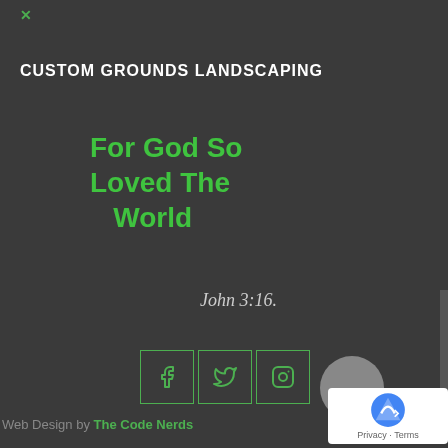×
CUSTOM GROUNDS LANDSCAPING
For God So Loved The World
John 3:16.
[Figure (infographic): Social media icons: Facebook, Twitter, Instagram in green-bordered boxes]
Web Design by The Code Nerds